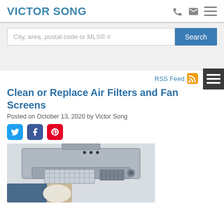VICTOR SONG
City, area, postal code or MLS® #
Clean or Replace Air Filters and Fan Screens
Posted on October 13, 2020 by Victor Song
[Figure (photo): Person cleaning or replacing a range hood/fan filter in a kitchen, holding a mesh filter panel under a stainless steel range hood.]